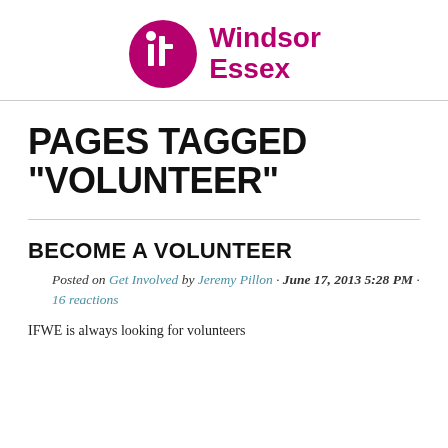[Figure (logo): IFF Windsor Essex logo: purple circular icon with lowercase 'iff' letters, followed by 'Windsor Essex' text in purple/magenta]
PAGES TAGGED "VOLUNTEER"
BECOME A VOLUNTEER
Posted on Get Involved by Jeremy Pillon · June 17, 2013 5:28 PM · 16 reactions
IFWE is always looking for volunteers